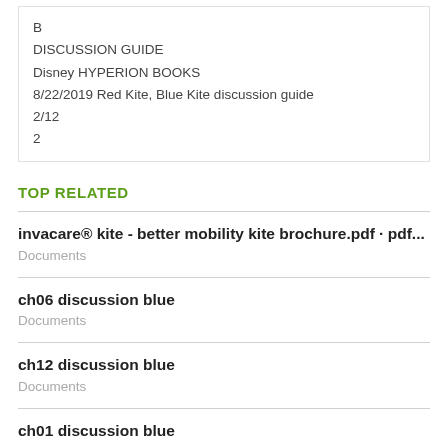B
DISCUSSION GUIDE
Disney HYPERION BOOKS
8/22/2019 Red Kite, Blue Kite discussion guide
2/12
2
TOP RELATED
invacare® kite - better mobility kite brochure.pdf · pdf...
Documents
ch06 discussion blue
Documents
ch12 discussion blue
Documents
ch01 discussion blue